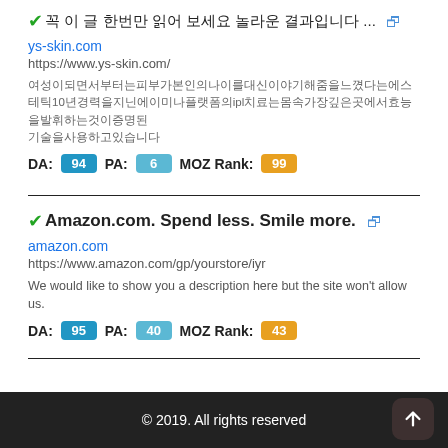✔ (Japanese text) ... [external link]
ys-skin.com
https://www.ys-skin.com/
(Japanese snippet text with 'ipl' embedded)
DA: 94  PA: 6  MOZ Rank: 99
✔ Amazon.com. Spend less. Smile more. [external link]
amazon.com
https://www.amazon.com/gp/yourstore/iyr
We would like to show you a description here but the site won't allow us.
DA: 95  PA: 40  MOZ Rank: 43
© 2019. All rights reserved